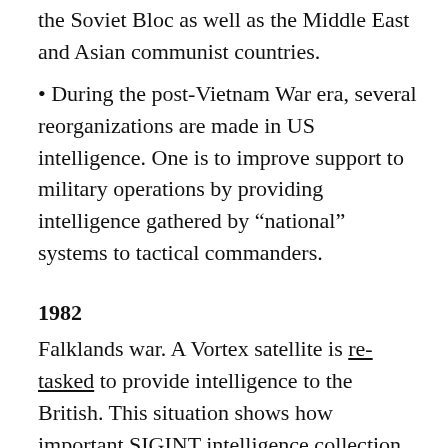the Soviet Bloc as well as the Middle East and Asian communist countries.
• During the post-Vietnam War era, several reorganizations are made in US intelligence. One is to improve support to military operations by providing intelligence gathered by “national” systems to tactical commanders.
1982
Falklands war. A Vortex satellite is re-tasked to provide intelligence to the British. This situation shows how important SIGINT intelligence collection by satellite has become, and pushes the British to “buy” that capability by financing the budget of one US SIGINT satellite later in the decade.